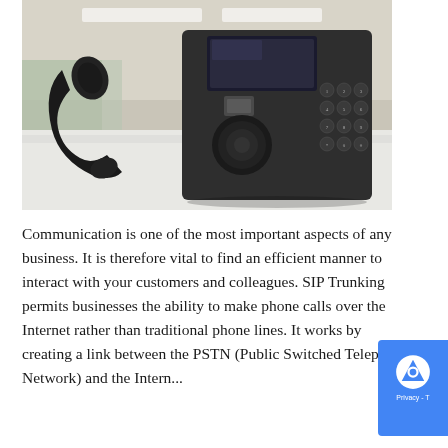[Figure (photo): A black IP/VoIP desk phone with handset off to the left and keypad visible on the right, sitting on a white desk surface in an office environment with blurred background showing ceiling lights and glass partitions.]
Communication is one of the most important aspects of any business. It is therefore vital to find an efficient manner to interact with your customers and colleagues. SIP Trunking permits businesses the ability to make phone calls over the Internet rather than traditional phone lines. It works by creating a link between the PSTN (Public Switched Telephone Network) and the Intern...